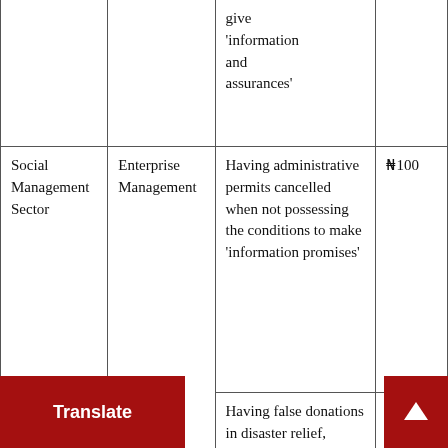|  |  |  |  |
| --- | --- | --- | --- |
|  |  | give 'information and assurances' |  |
| Social Management Sector | Enterprise Management | Having administrative permits cancelled when not possessing the conditions to make 'information promises' | ₦100 |
|  |  | Having false donations in disaster relief, poverty alleviation, | ₦50 |